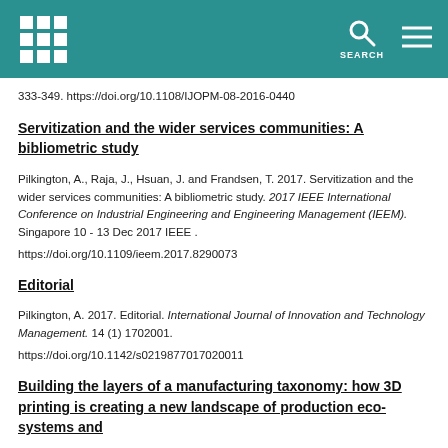SEARCH
333-349. https://doi.org/10.1108/IJOPM-08-2016-0440
Servitization and the wider services communities: A bibliometric study
Pilkington, A., Raja, J., Hsuan, J. and Frandsen, T. 2017. Servitization and the wider services communities: A bibliometric study. 2017 IEEE International Conference on Industrial Engineering and Engineering Management (IEEM). Singapore 10 - 13 Dec 2017 IEEE .
https://doi.org/10.1109/ieem.2017.8290073
Editorial
Pilkington, A. 2017. Editorial. International Journal of Innovation and Technology Management. 14 (1) 1702001.
https://doi.org/10.1142/s0219877017020011
Building the layers of a manufacturing taxonomy: how 3D printing is creating a new landscape of production eco-systems and